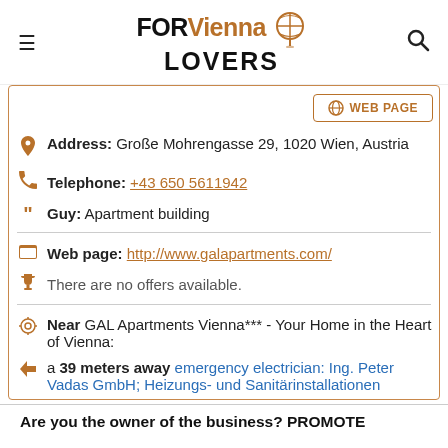FOR Vienna LOVERS [logo]
WEB PAGE
Address: Große Mohrengasse 29, 1020 Wien, Austria
Telephone: +43 650 5611942
Guy: Apartment building
Web page: http://www.galapartments.com/
There are no offers available.
Near GAL Apartments Vienna*** - Your Home in the Heart of Vienna:
a 39 meters away emergency electrician: Ing. Peter Vadas GmbH; Heizungs- und Sanitärinstallationen
Are you the owner of the business? PROMOTE